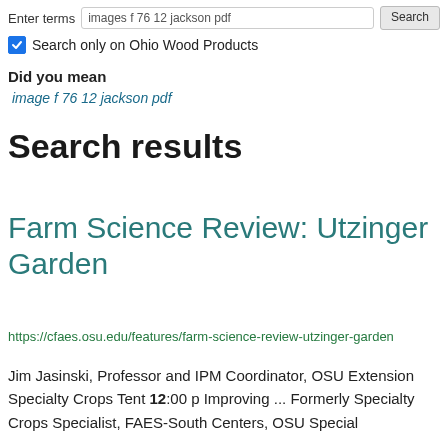Enter terms  images f 76 12 jackson pdf  Search
Search only on Ohio Wood Products
Did you mean
image f 76 12 jackson pdf
Search results
Farm Science Review: Utzinger Garden
https://cfaes.osu.edu/features/farm-science-review-utzinger-garden
Jim Jasinski, Professor and IPM Coordinator, OSU Extension Specialty Crops Tent 12:00 p Improving ... Formerly Specialty Crops Specialist, FAES-South Centers, OSU Special